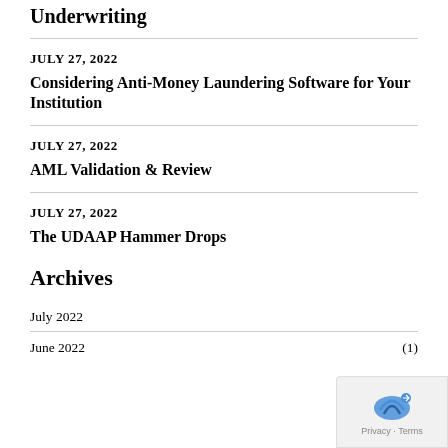Underwriting
JULY 27, 2022
Considering Anti-Money Laundering Software for Your Institution
JULY 27, 2022
AML Validation & Review
JULY 27, 2022
The UDAAP Hammer Drops
Archives
July 2022
June 2022 (1)